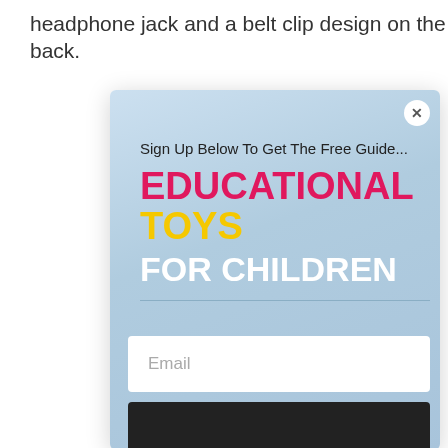headphone jack and a belt clip design on the back.
[Figure (screenshot): A modal popup with a light blue gradient background. Contains a close button (X) in top right corner. Text reads: 'Sign Up Below To Get The Free Guide...' followed by 'EDUCATIONAL TOYS' in pink/magenta and yellow bold text, 'FOR CHILDREN' in white bold text, a horizontal divider, an Email input field, and a dark button at the bottom.]